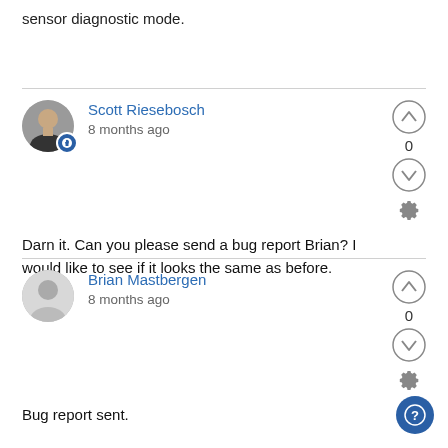sensor diagnostic mode.
Scott Riesebosch
8 months ago
Darn it. Can you please send a bug report Brian? I would like to see if it looks the same as before.
Brian Mastbergen
8 months ago
Bug report sent.